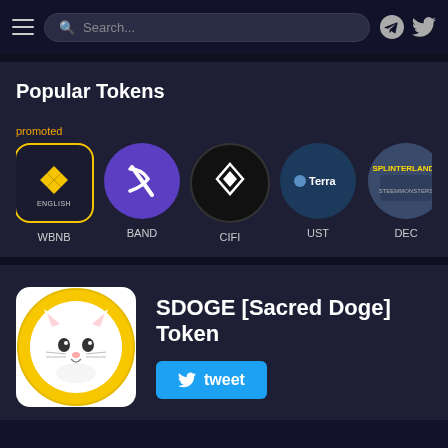Search...
Popular Tokens
promoted
[Figure (infographic): Row of cryptocurrency token icons: WBNB (Binance, golden border rounded square), BAND (purple circle with B logo), CIFI (black circle with diamond logo), UST (dark blue circle, Terra logo), DEC (illustrated Splinterlands token), BNX (black circle with red rhino logo). Labels below each: WBNB, BAND, CIFI, UST, DEC, BNX.]
[Figure (illustration): SDOGE Sacred Doge Token logo: circular yellow border with white cartoon cat/dog face on white background.]
SDOGE [Sacred Doge] Token
tweet